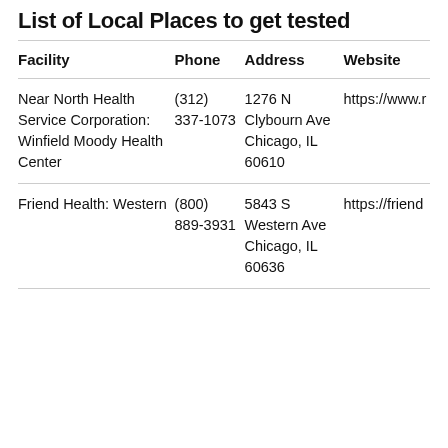List of Local Places to get tested
| Facility | Phone | Address | Website |
| --- | --- | --- | --- |
| Near North Health Service Corporation: Winfield Moody Health Center | (312) 337-1073 | 1276 N Clybourn Ave Chicago, IL 60610 | https://www.r |
| Friend Health: Western | (800) 889-3931 | 5843 S Western Ave Chicago, IL 60636 | https://friend |